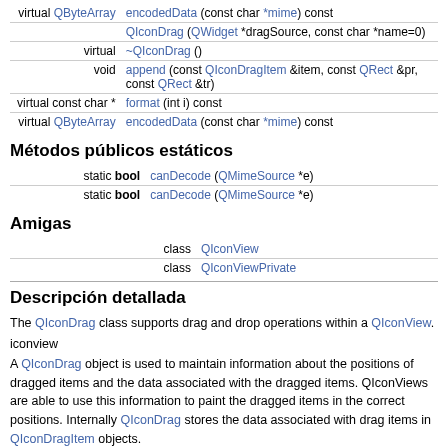| modifier | declaration |
| --- | --- |
| virtual QByteArray | encodedData (const char *mime) const |
|  | QIconDrag (QWidget *dragSource, const char *name=0) |
| virtual | ~QIconDrag () |
| void | append (const QIconDragItem &item, const QRect &pr, const QRect &tr) |
| virtual const char * | format (int i) const |
| virtual QByteArray | encodedData (const char *mime) const |
Métodos públicos estáticos
| modifier | declaration |
| --- | --- |
| static bool | canDecode (QMimeSource *e) |
| static bool | canDecode (QMimeSource *e) |
Amigas
| modifier | declaration |
| --- | --- |
| class | QIconView |
| class | QIconViewPrivate |
Descripción detallada
The QIconDrag class supports drag and drop operations within a QIconView.
iconview
A QIconDrag object is used to maintain information about the positions of dragged items and the data associated with the dragged items. QIconViews are able to use this information to paint the dragged items in the correct positions. Internally QIconDrag stores the data associated with drag items in QIconDragItem objects.
If you want to use the extended drag-and-drop functionality of QIconView, create